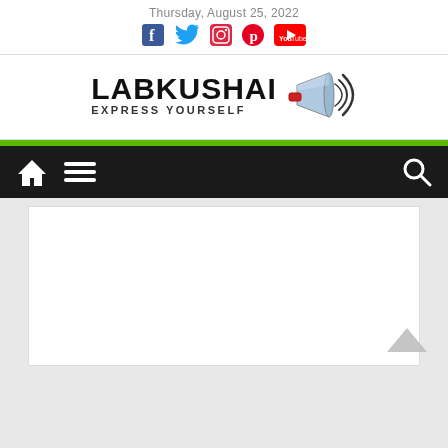Thursday, August 25, 2022
[Figure (logo): LABKUSHAI EXPRESS YOURSELF logo with megaphone illustration]
[Figure (screenshot): Navigation bar with home icon, menu icon, and search icon on dark background with green stripe above]
[Figure (other): White content area box, empty advertisement or content placeholder]
[Figure (other): Back to top chevron arrow in bottom right corner]